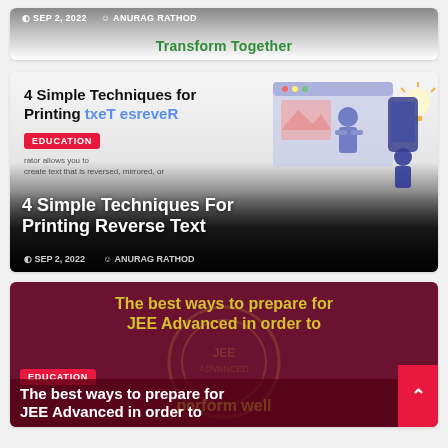[Figure (screenshot): Top strip showing article preview with 'Transform Together' text in green and metadata: SEP 2, 2022, ANURAG RATHOD]
[Figure (screenshot): Article card for '4 Simple Techniques for Printing Reverse Text' with illustration, EDUCATION badge, date SEP 2 2022, author ANURAG RATHOD]
[Figure (screenshot): Article card for 'The best ways to prepare for JEE Advanced in order to perform well' with EDUCATION badge on dark maroon background with yellow bold text]